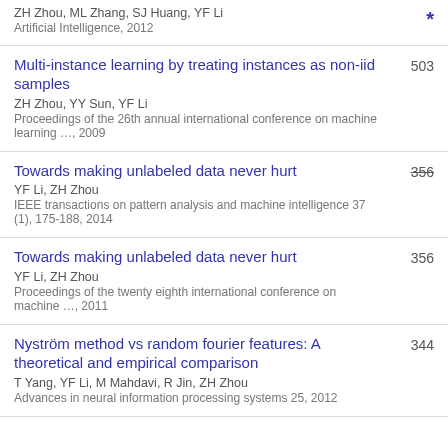ZH Zhou, ML Zhang, SJ Huang, YF Li
Artificial Intelligence, 2012
*
Multi-instance learning by treating instances as non-iid samples
ZH Zhou, YY Sun, YF Li
Proceedings of the 26th annual international conference on machine learning …, 2009
503
Towards making unlabeled data never hurt
YF Li, ZH Zhou
IEEE transactions on pattern analysis and machine intelligence 37 (1), 175-188, 2014
356
Towards making unlabeled data never hurt
YF Li, ZH Zhou
Proceedings of the twenty eighth international conference on machine …, 2011
356
Nyström method vs random fourier features: A theoretical and empirical comparison
T Yang, YF Li, M Mahdavi, R Jin, ZH Zhou
Advances in neural information processing systems 25, 2012
344